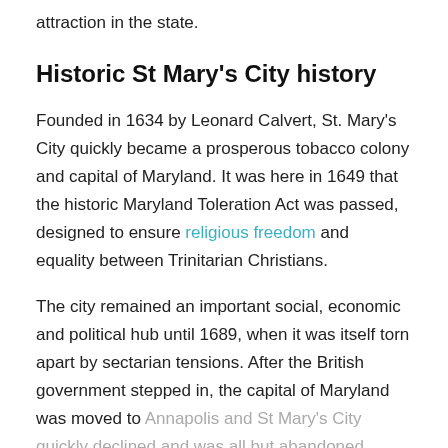attraction in the state.
Historic St Mary's City history
Founded in 1634 by Leonard Calvert, St. Mary's City quickly became a prosperous tobacco colony and capital of Maryland. It was here in 1649 that the historic Maryland Toleration Act was passed, designed to ensure religious freedom and equality between Trinitarian Christians.
The city remained an important social, economic and political hub until 1689, when it was itself torn apart by sectarian tensions. After the British government stepped in, the capital of Maryland was moved to Annapolis and St Mary's City quickly declined and was all but abandoned.